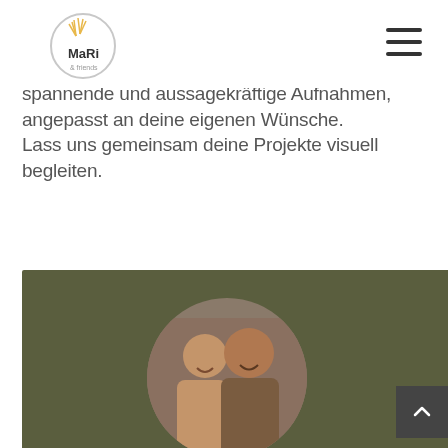MaRi & friends logo and hamburger menu
Das passionierte Kreativteam begleitet dich mit individuellen Fotos und die spontan im Trend liegenden Formaten als Kamerafrau spannende und aussagekräftige Aufnahmen, angepasst an deine eigenen Wünsche. Lass uns gemeinsam deine Projekte visuell begleiten.
[Figure (photo): Two people smiling in a circular cropped photo on a dark olive/green background, partially visible at the bottom of the page]